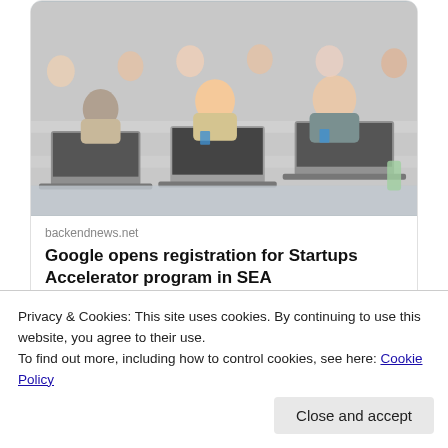[Figure (photo): Classroom scene with students working on laptops at desks, with a conference/workshop setting]
backendnews.net
Google opens registration for Startups Accelerator program in SEA
Back End News @backendnewsnet · 5h
Privacy & Cookies: This site uses cookies. By continuing to use this website, you agree to their use.
To find out more, including how to control cookies, see here: Cookie Policy
Close and accept